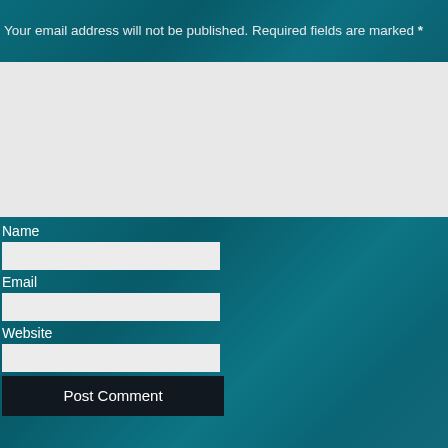Your email address will not be published. Required fields are marked *
Name
Email
Website
Post Comment
Notify me of new comments via email.
Notify me of new posts via email.